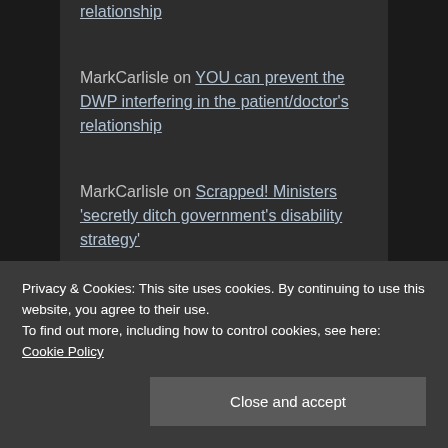relationship
MarkCarlisle on YOU can prevent the DWP interfering in the patient/doctor's relationship
MarkCarlisle on Scrapped! Ministers 'secretly ditch government's disability strategy'
Privacy & Cookies: This site uses cookies. By continuing to use this website, you agree to their use.
To find out more, including how to control cookies, see here: Cookie Policy
Close and accept